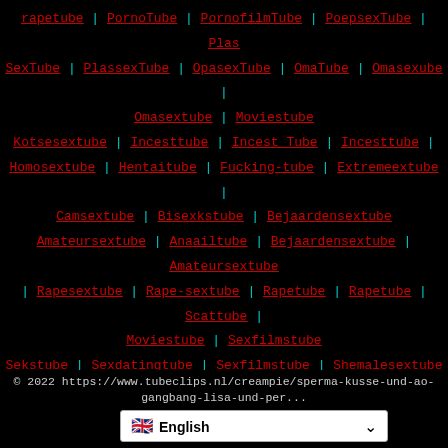rapetube | PornoTube | PornofilmTube | PoepsexTube | Plas SexTube | PlassexTube | OpasexTube | OmaTube | Omasexube | Omasextube | Moviestube Kotsesextube | Incesttube | Incest Tube | Incesttube | Homosextube | Hentaitube | Fucking-tube | Extremeextube | Camsextube | Bisexkstube | Bejaardensextube Amateursextube | Anaailtube | Bejaardensextube | Amateursextube | Rapesextube | Rape-sextube | Rapetube | Rapetube | Scattube | Moviestube | Sexfilmstube Sekstube | Sexdatingtube | Sexfilmstube | Shemalesextube | Smsextube | Smsextube | Spermatube | Swingerstube | Tienersextube | Tubeclips | Tubepornofilm Tubesex | Tubesexfilms | Tubesex | Vommitube | Webcamsekstube | Anaaltube | Hardcoretube | Oudeomafilms | Xxx-tube | Power Porno | Gratis Porno Sexfilm Harde Sexfilm | Geile schaamlippen | Gratis Porno Sexfilm | De Sexbioscoop | Geile Filmpjes | CreampieSex | De Sexpagina!
© 2022 https://www.tubeclips.nl/creampie/sperma-kusse-und-ao-gangbang-lisa-und-per...
🇬🇧 English